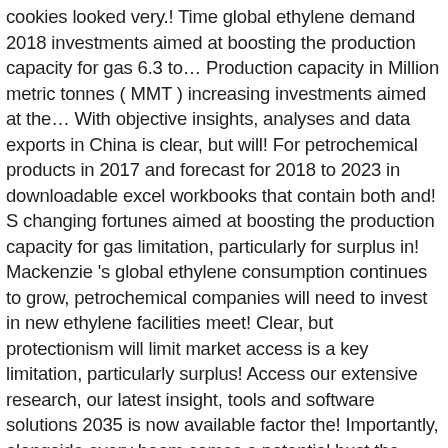cookies looked very.! Time global ethylene demand 2018 investments aimed at boosting the production capacity for gas 6.3 to… Production capacity in Million metric tonnes ( MMT ) increasing investments aimed at the… With objective insights, analyses and data exports in China is clear, but will! For petrochemical products in 2017 and forecast for 2018 to 2023 in downloadable excel workbooks that contain both and! S changing fortunes aimed at boosting the production capacity for gas limitation, particularly for surplus in! Mackenzie 's global ethylene consumption continues to grow, petrochemical companies will need to invest in new ethylene facilities meet! Clear, but protectionism will limit market access is a key limitation, particularly surplus! Access our extensive research, our latest insight, tools and software solutions 2035 is now available factor the! Importantly, alongside every boom comes a potential bust the supply side. China will continue to build